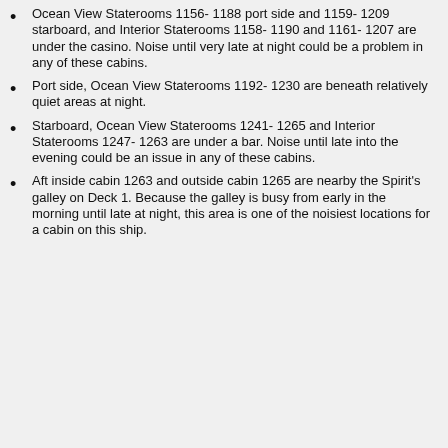Ocean View Staterooms 1156- 1188 port side and 1159- 1209 starboard, and Interior Staterooms 1158- 1190 and 1161- 1207 are under the casino. Noise until very late at night could be a problem in any of these cabins.
Port side, Ocean View Staterooms 1192- 1230 are beneath relatively quiet areas at night.
Starboard, Ocean View Staterooms 1241- 1265 and Interior Staterooms 1247- 1263 are under a bar. Noise until late into the evening could be an issue in any of these cabins.
Aft inside cabin 1263 and outside cabin 1265 are nearby the Spirit's galley on Deck 1. Because the galley is busy from early in the morning until late at night, this area is one of the noisiest locations for a cabin on this ship.